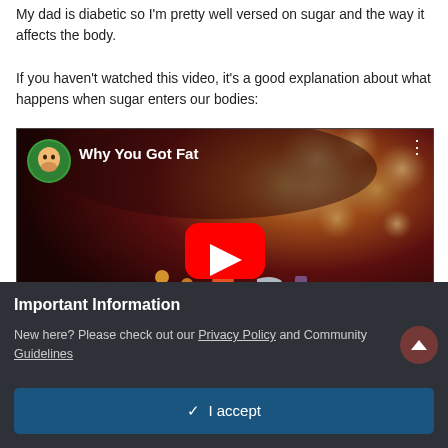My dad is diabetic so I'm pretty well versed on sugar and the way it affects the body.
If you haven't watched this video, it's a good explanation about what happens when sugar enters our bodies:
[Figure (screenshot): YouTube video thumbnail titled 'Why You Got Fat' showing a channel icon with a man's face on a green circle background, and a YouTube play button overlay on a close-up medical image of blood cells/vessels with bokeh background.]
Important Information
New here? Please check out our Privacy Policy and Community Guidelines
✓  I accept